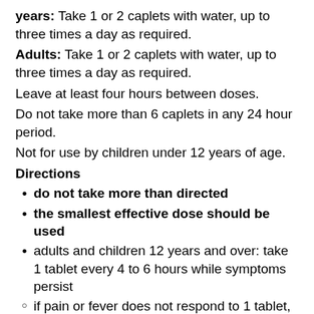years: Take 1 or 2 caplets with water, up to three times a day as required.
Adults: Take 1 or 2 caplets with water, up to three times a day as required.
Leave at least four hours between doses.
Do not take more than 6 caplets in any 24 hour period.
Not for use by children under 12 years of age.
Directions
do not take more than directed
the smallest effective dose should be used
adults and children 12 years and over: take 1 tablet every 4 to 6 hours while symptoms persist
if pain or fever does not respond to 1 tablet, 2 tablets may be used
do not exceed 6 tablets in 24 hours, unless